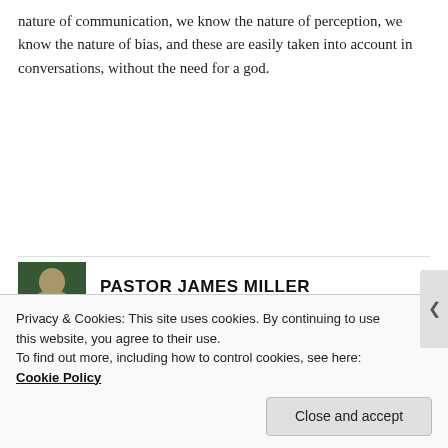nature of communication, we know the nature of perception, we know the nature of bias, and these are easily taken into account in conversations, without the need for a god.
↳ Reply
PASTOR JAMES MILLER
June 27, 2013 at 9:39 pm
And you believe that’s true, right?
Privacy & Cookies: This site uses cookies. By continuing to use this website, you agree to their use.
To find out more, including how to control cookies, see here: Cookie Policy
Close and accept